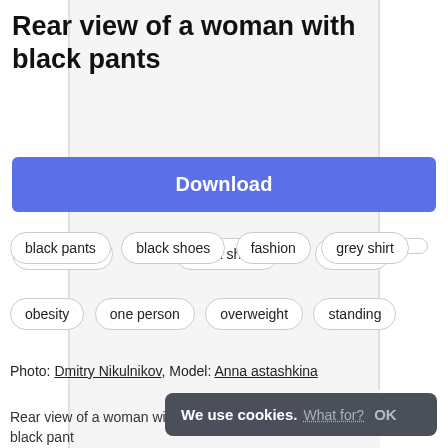Rear view of a woman with black pants
Download
black pants
black shoes
fashion
grey shirt
obesity
one person
overweight
standing
Photo: Dmitry Nikulnikov, Model: Anna astashkina
Rear view of a woman with black pants
We use cookies. What for? OK